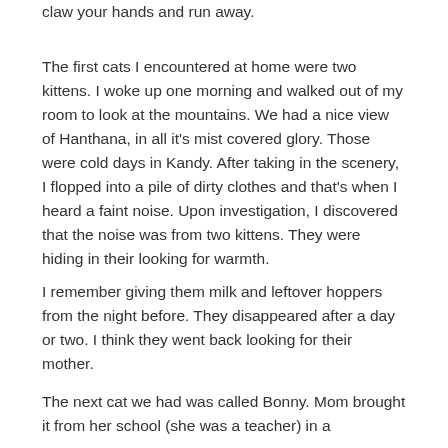claw your hands and run away.
The first cats I encountered at home were two kittens. I woke up one morning and walked out of my room to look at the mountains. We had a nice view of Hanthana, in all it's mist covered glory. Those were cold days in Kandy. After taking in the scenery, I flopped into a pile of dirty clothes and that's when I heard a faint noise. Upon investigation, I discovered that the noise was from two kittens. They were hiding in their looking for warmth.
I remember giving them milk and leftover hoppers from the night before. They disappeared after a day or two. I think they went back looking for their mother.
The next cat we had was called Bonny. Mom brought it from her school (she was a teacher) in a